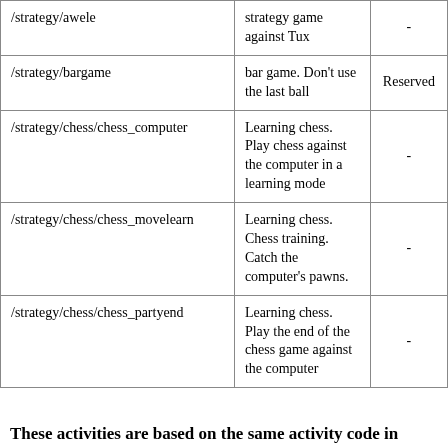| /strategy/awele | strategy game against Tux | - |
| /strategy/bargame | bar game. Don't use the last ball | Reserved |
| /strategy/chess/chess_computer | Learning chess. Play chess against the computer in a learning mode | - |
| /strategy/chess/chess_movelearn | Learning chess. Chess training. Catch the computer's pawns. | - |
| /strategy/chess/chess_partyend | Learning chess. Play the end of the chess game against the computer | - |
These activities are based on the same activity code in